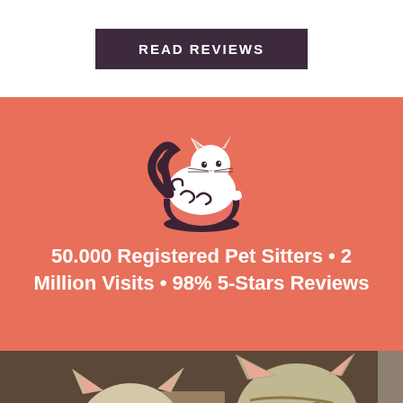[Figure (other): Dark purple 'READ REVIEWS' button on white background at top of page]
[Figure (logo): Cat-in-bowl logo illustration — a stylized white cat curled inside a bowl shape, with decorative swirls, on coral/salmon background]
50.000 Registered Pet Sitters • 2 Million Visits • 98% 5-Stars Reviews
[Figure (photo): Photo of two tabby kittens looking upward, close-up, warm tones]
[Figure (other): Help button widget — circular question mark icon with 'Help' text, light teal background, bottom right corner]